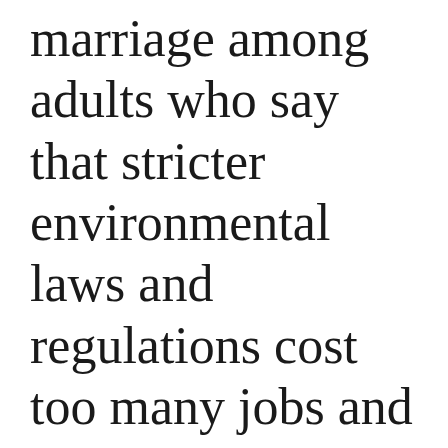marriage among adults who say that stricter environmental laws and regulations cost too many jobs and hurt the economy by